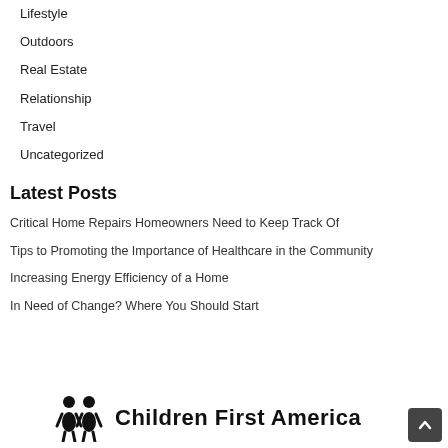Lifestyle
Outdoors
Real Estate
Relationship
Travel
Uncategorized
Latest Posts
Critical Home Repairs Homeowners Need to Keep Track Of
Tips to Promoting the Importance of Healthcare in the Community
Increasing Energy Efficiency of a Home
In Need of Change? Where You Should Start
[Figure (logo): Children First America logo with two child figures icon and bold text]